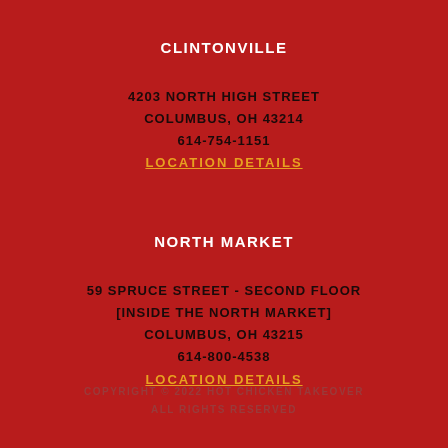CLINTONVILLE
4203 NORTH HIGH STREET
COLUMBUS, OH 43214
614-754-1151
LOCATION DETAILS
NORTH MARKET
59 SPRUCE STREET - SECOND FLOOR
[INSIDE THE NORTH MARKET]
COLUMBUS, OH 43215
614-800-4538
LOCATION DETAILS
COPYRIGHT © 2022 HOT CHICKEN TAKEOVER ALL RIGHTS RESERVED